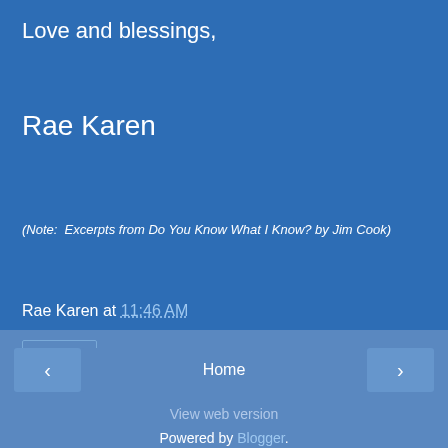Love and blessings,
Rae Karen
(Note:  Excerpts from Do You Know What I Know? by Jim Cook)
Rae Karen at 11:46 AM
Share
‹   Home   ›
View web version
Powered by Blogger.